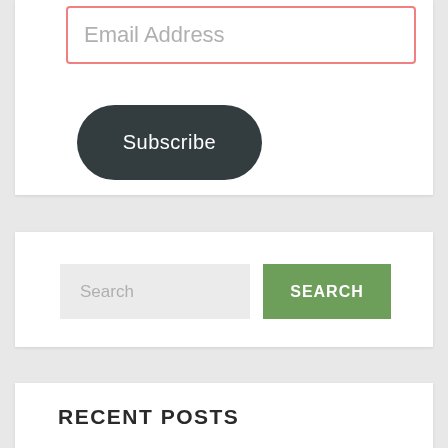Email Address
Subscribe
Search
SEARCH
RECENT POSTS